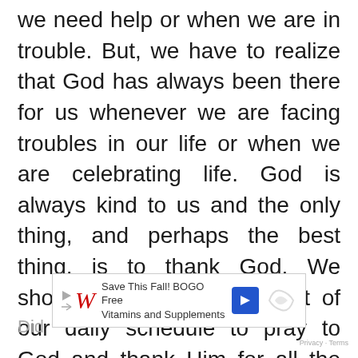we need help or when we are in trouble. But, we have to realize that God has always been there for us whenever we are facing troubles in our life or when we are celebrating life. God is always kind to us and the only thing, and perhaps the best thing, is to thank God. We should take a little time out of our daily schedule to pray to God and thank Him for all the blessings we receive in our life. God asks us nothing else but to praise and believe in Him.
[Figure (other): Walgreens advertisement banner: Save This Fall! BOGO Free Vitamins and Supplements]